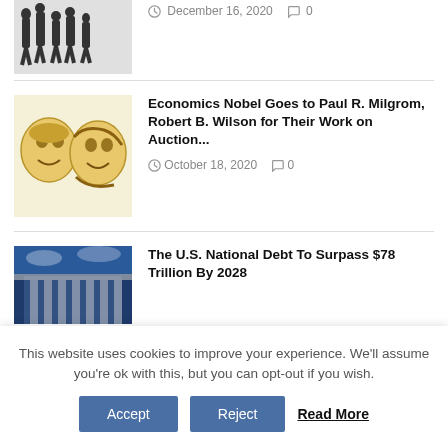[Figure (photo): Silhouettes of people walking]
December 16, 2020   0
[Figure (illustration): Illustrated portraits of Paul R. Milgrom and Robert B. Wilson]
Economics Nobel Goes to Paul R. Milgrom, Robert B. Wilson for Their Work on Auction...
October 18, 2020   0
[Figure (photo): U.S. government building with blue sky background]
The U.S. National Debt To Surpass $78 Trillion By 2028
This website uses cookies to improve your experience. We'll assume you're ok with this, but you can opt-out if you wish.